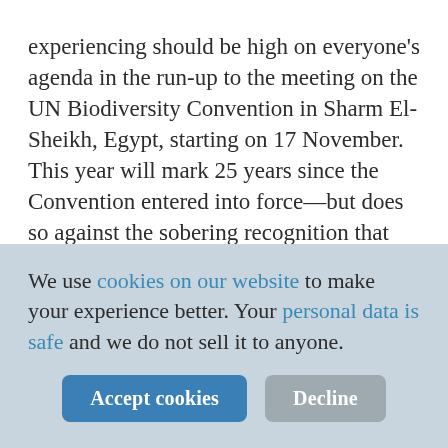…the growing biodiversity loss that the world is experiencing should be high on everyone's agenda in the run-up to the meeting on the UN Biodiversity Convention in Sharm El-Sheikh, Egypt, starting on 17 November. This year will mark 25 years since the Convention entered into force—but does so against the sobering recognition that ecosystems are collapsing and species face extinction in a way as dangerous as climate change.

One of the main messages to the world's
We use cookies on our website to make your experience better. Your personal data is safe and we do not sell it to anyone.